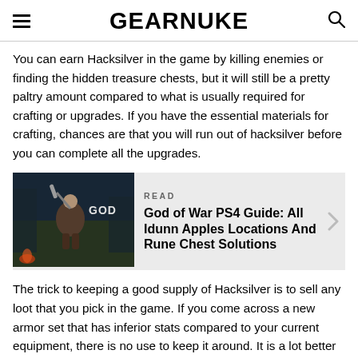GEARNUKE
You can earn Hacksilver in the game by killing enemies or finding the hidden treasure chests, but it will still be a pretty paltry amount compared to what is usually required for crafting or upgrades. If you have the essential materials for crafting, chances are that you will run out of hacksilver before you can complete all the upgrades.
[Figure (screenshot): God of War PS4 game screenshot showing Kratos with a weapon in a dark forest environment, with the text GOD visible]
READ
God of War PS4 Guide: All Idunn Apples Locations And Rune Chest Solutions
The trick to keeping a good supply of Hacksilver is to sell any loot that you pick in the game. If you come across a new armor set that has inferior stats compared to your current equipment, there is no use to keep it around. It is a lot better to sell them in such cases. The items that can be sold to the blacksmith usually offer rewards